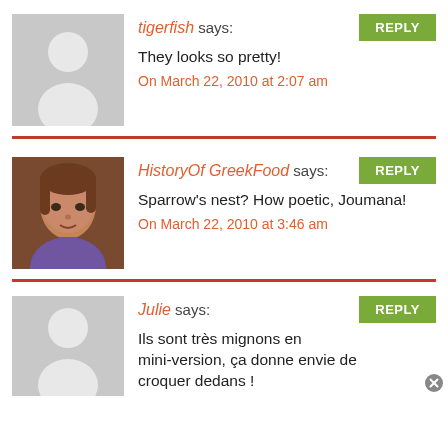tigerfish says:
They looks so pretty!
On March 22, 2010 at 2:07 am
HistoryOf GreekFood says:
Sparrow's nest? How poetic, Joumana!
On March 22, 2010 at 3:46 am
Julie says:
Ils sont très mignons en mini-version, ça donne envie de croquer dedans !